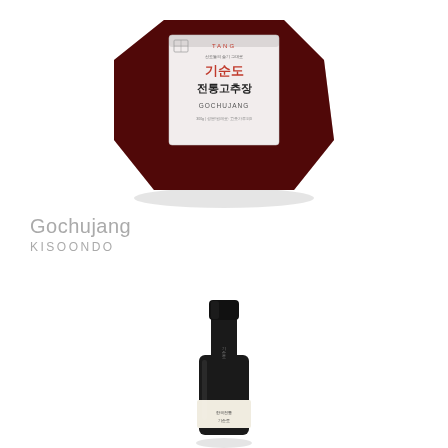[Figure (photo): A package of Kisoondo traditional Gochujang (Korean red pepper paste) with a white label showing Korean text '기순도 전통고추장' and 'GOCHUJANG', the package showing dark red paste visible through packaging.]
Gochujang
KISOONDO
[Figure (photo): A small dark glass bottle with a black cap and a white label with small Korean text, resembling a wine or sauce bottle.]